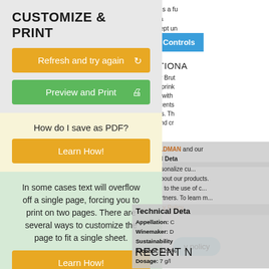CUSTOMIZE & PRINT
Refresh and try again
Preview and Print
How do I save as PDF?
Learn How!
In some cases text will overflow off a single page, forcing you to print on two pages. There are several ways to customize the page to fit a single sheet.
Learn How!
undergoes a fu... in bottle a... wine is kept un... The very fine a... deep, cool and
ADDITIONA
Pol Roger Brut bubbles sprink opens up with exudes scents fragrances. Th opulent and cr
FREDERICK WILDMAN and our Technical Deta
ence, personalize cu... ements about our products. you agree to the use of c... nd our partners. To learn m... our Privacy Policy.
Appellation: C Winemaker: D Sustainability Alcohol: 12.5% Dosage: 7 g/l
RECENT N
Toggle Controls
privacy policy